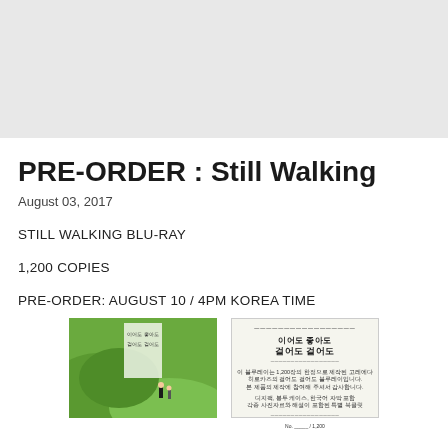[Figure (photo): Light gray rectangular placeholder image at the top of the page]
PRE-ORDER : Still Walking
August 03, 2017
STILL WALKING BLU-RAY
1,200 COPIES
PRE-ORDER: AUGUST 10 / 4PM KOREA TIME
[Figure (photo): Two product images side by side at the bottom: left shows a green illustrated Blu-ray case cover with figures walking on a hillside, right shows a Korean insert card with Korean text and a decorative border]